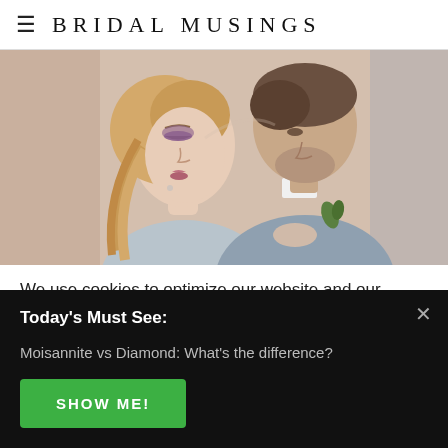BRIDAL MUSINGS
[Figure (photo): Close-up photo of a bride and groom leaning foreheads together. The bride has blonde hair, dramatic eye makeup with purple eyeshadow, and wears a light blue/grey dress. The groom wears a light grey suit with a boutonniere.]
We use cookies to optimize our website and our
Today's Must See:
Moisannite vs Diamond: What's the difference?
SHOW ME!